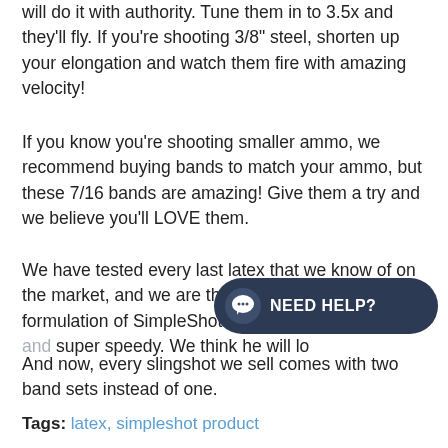will do it with authority. Tune them in to 3.5x and they'll fly. If you're shooting 3/8" steel, shorten up your elongation and watch them fire with amazing velocity!
If you know you're shooting smaller ammo, we recommend buying bands to match your ammo, but these 7/16 bands are amazing! Give them a try and we believe you'll LOVE them.
We have tested every last latex that we know of on the market, and we are thrilled with our current formulation of SimpleShot black latex. It's adorable and super speedy. We think he will lo...
And now, every slingshot we sell comes with two band sets instead of one.
Tags: latex, simpleshot product
[Figure (screenshot): A dark navy chat bubble UI element with a speech bubble icon on the left and 'NEED HELP?' text in white bold letters on the right.]